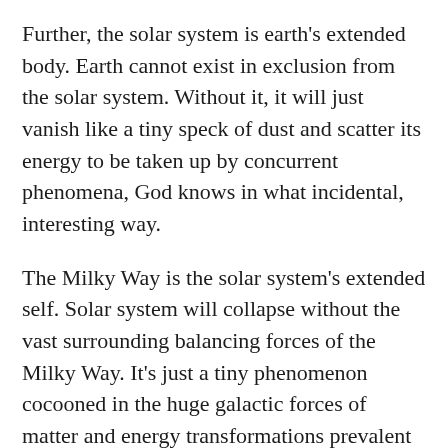Further, the solar system is earth's extended body. Earth cannot exist in exclusion from the solar system. Without it, it will just vanish like a tiny speck of dust and scatter its energy to be taken up by concurrent phenomena, God knows in what incidental, interesting way.
The Milky Way is the solar system's extended self. Solar system will collapse without the vast surrounding balancing forces of the Milky Way. It's just a tiny phenomenon cocooned in the huge galactic forces of matter and energy transformations prevalent in the Milky Way.
Super-galaxy is Milky Way's extended body, and so on so forth. Till you reach the roof of everything, till you reach the farthest expansion of the universe. Then it's nothing. Simply because there the explosion is imploding, getting sucked into nothingness. To be blasted out again for another cycle. How is it possible with net zero energy? Visualize a pendulum. It